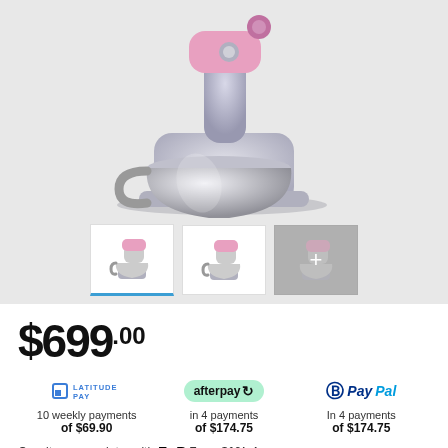[Figure (photo): Pink and silver stand mixer with stainless steel bowl, shown from front-left angle on grey background]
[Figure (photo): Three product thumbnails: first selected (pink mixer front view, blue underline), second (pink mixer different angle), third (greyed out with plus icon and mixer image)]
$699.00
LATITUDE PAY – 10 weekly payments of $69.90
afterpay – in 4 payments of $174.75
PayPal – In 4 payments of $174.75
Own it now, pay later with ZIP From $10/wk
[Figure (other): Star rating row, 4 gold stars partially visible at bottom]